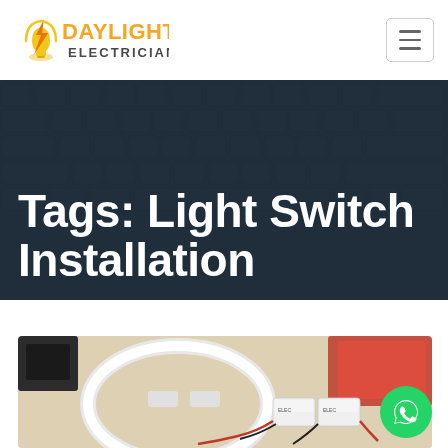[Figure (logo): Daylight Electrician logo with lightning bolt and bulb icon, orange and yellow colors, text reads DAYLIGHT ELECTRICIAN]
Tags: Light Switch Installation
[Figure (photo): Electrical components on a beige surface: a white circular fluorescent tube, a black switch, small white electrical boxes with red and black wiring, and a red object in the upper right corner]